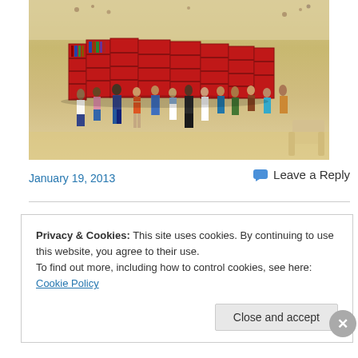[Figure (photo): Aerial/overhead view of a beach with a large red bookshelf/library installation on the sand. Many people are standing around browsing the books. Sandy beach visible in background with more beachgoers.]
January 19, 2013
Leave a Reply
Privacy & Cookies: This site uses cookies. By continuing to use this website, you agree to their use.
To find out more, including how to control cookies, see here: Cookie Policy
Close and accept